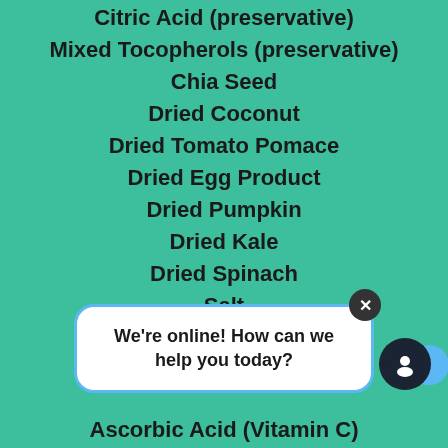Citric Acid (preservative)
Mixed Tocopherols (preservative)
Chia Seed
Dried Coconut
Dried Tomato Pomace
Dried Egg Product
Dried Pumpkin
Dried Kale
Dried Spinach
Salt
Vitamin E Supplement
Ferrous Sulfate
[Figure (screenshot): Chat widget overlay with message 'We're online! How can we help you today?' and close button and chat icon]
Ascorbic Acid (Vitamin C)